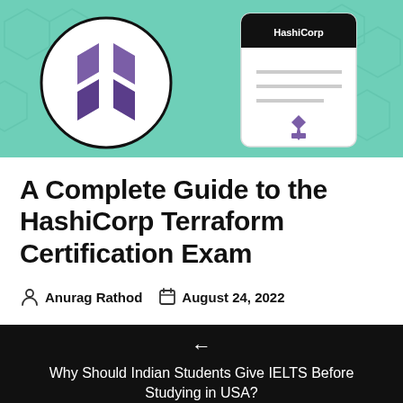[Figure (illustration): Hero image showing HashiCorp Terraform logo in a circle on a teal/green background alongside a certificate with HashiCorp branding and a purple ribbon/seal]
A Complete Guide to the HashiCorp Terraform Certification Exam
Anurag Rathod   August 24, 2022
← Why Should Indian Students Give IELTS Before Studying in USA?